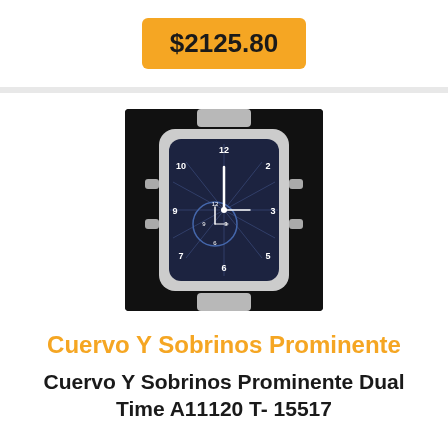$2125.80
[Figure (photo): Photo of a Cuervo Y Sobrinos Prominente watch with a rectangular dark dial showing dual time, Arabic numerals, and a grey crocodile-style leather strap with steel case]
Cuervo Y Sobrinos Prominente
Cuervo Y Sobrinos Prominente Dual Time A11120 T- 15517